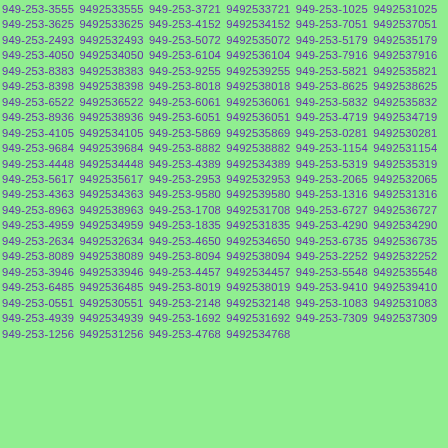949-253-3555 9492533555 949-253-3721 9492533721 949-253-1025 9492531025 949-253-3625 9492533625 949-253-4152 9492534152 949-253-7051 9492537051 949-253-2493 9492532493 949-253-5072 9492535072 949-253-5179 9492535179 949-253-4050 9492534050 949-253-6104 9492536104 949-253-7916 9492537916 949-253-8383 9492538383 949-253-9255 9492539255 949-253-5821 9492535821 949-253-8398 9492538398 949-253-8018 9492538018 949-253-8625 9492538625 949-253-6522 9492536522 949-253-6061 9492536061 949-253-5832 9492535832 949-253-8936 9492538936 949-253-6051 9492536051 949-253-4719 9492534719 949-253-4105 9492534105 949-253-5869 9492535869 949-253-0281 9492530281 949-253-9684 9492539684 949-253-8882 9492538882 949-253-1154 9492531154 949-253-4448 9492534448 949-253-4389 9492534389 949-253-5319 9492535319 949-253-5617 9492535617 949-253-2953 9492532953 949-253-2065 9492532065 949-253-4363 9492534363 949-253-9580 9492539580 949-253-1316 9492531316 949-253-8963 9492538963 949-253-1708 9492531708 949-253-6727 9492536727 949-253-4959 9492534959 949-253-1835 9492531835 949-253-4290 9492534290 949-253-2634 9492532634 949-253-4650 9492534650 949-253-6735 9492536735 949-253-8089 9492538089 949-253-8094 9492538094 949-253-2252 9492532252 949-253-3946 9492533946 949-253-4457 9492534457 949-253-5548 9492535548 949-253-6485 9492536485 949-253-8019 9492538019 949-253-9410 9492539410 949-253-0551 9492530551 949-253-2148 9492532148 949-253-1083 9492531083 949-253-4939 9492534939 949-253-1692 9492531692 949-253-7309 9492537309 949-253-1256 9492531256 949-253-4768 9492534768